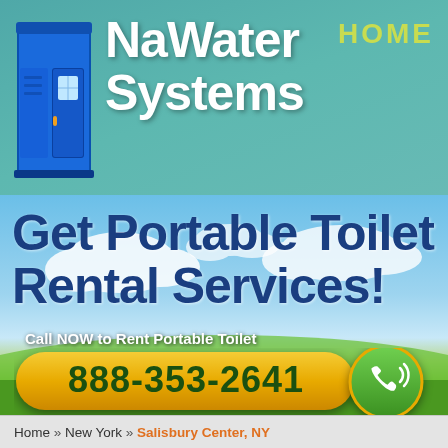[Figure (logo): Blue portable toilet unit icon on left side of header]
NaWater Systems
HOME
Get Portable Toilet Rental Services!
[Figure (photo): Outdoor sky and green grass landscape background]
Call NOW to Rent Portable Toilet
888-353-2641
Home » New York » Salisbury Center, NY